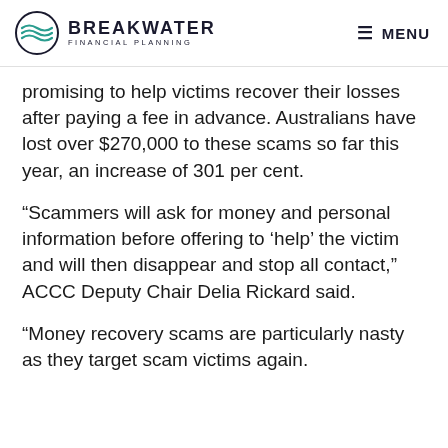BREAKWATER FINANCIAL PLANNING | MENU
promising to help victims recover their losses after paying a fee in advance. Australians have lost over $270,000 to these scams so far this year, an increase of 301 per cent.
“Scammers will ask for money and personal information before offering to ‘help’ the victim and will then disappear and stop all contact,” ACCC Deputy Chair Delia Rickard said.
“Money recovery scams are particularly nasty as they target scam victims again.